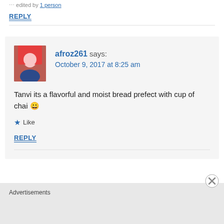REPLY
afroz261 says:
October 9, 2017 at 8:25 am
Tanvi its a flavorful and moist bread prefect with cup of chai 😀
★ Like
REPLY
Advertisements